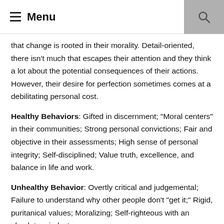Menu
that change is rooted in their morality. Detail-oriented, there isn't much that escapes their attention and they think a lot about the potential consequences of their actions. However, their desire for perfection sometimes comes at a debilitating personal cost.
Healthy Behaviors: Gifted in discernment; “Moral centers” in their communities; Strong personal convictions; Fair and objective in their assessments; High sense of personal integrity; Self-disciplined; Value truth, excellence, and balance in life and work.
Unhealthy Behavior: Overtly critical and judgemental; Failure to understand why other people don’t “get it;” Rigid, puritanical values; Moralizing; Self-righteous with an absolute mindset;